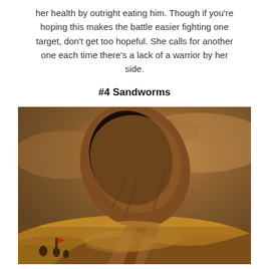her health by outright eating him. Though if you're hoping this makes the battle easier fighting one target, don't get too hopeful. She calls for another one each time there's a lack of a warrior by her side.
#4 Sandworms
[Figure (illustration): Fantasy/sci-fi illustration of a giant sandworm bursting out of desert sand, mouth open wide showing a dark interior, with small figures carrying a red flag visible in the lower left foreground against a warm orange and brown desert sky.]